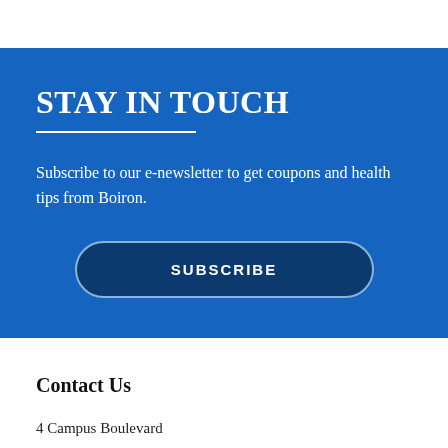STAY IN TOUCH
Subscribe to our e-newsletter to get coupons and health tips from Boiron.
SUBSCRIBE
Contact Us
4 Campus Boulevard
Newtown Square, PA 19073